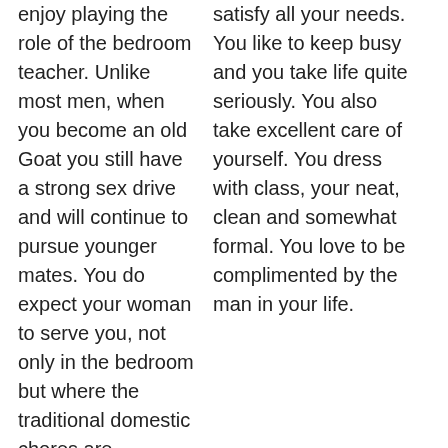enjoy playing the role of the bedroom teacher. Unlike most men, when you become an old Goat you still have a strong sex drive and will continue to pursue younger mates. You do expect your woman to serve you, not only in the bedroom but where the traditional domestic chores are concerned. You want your partner to be a loyal friend, but will never accept her
satisfy all your needs. You like to keep busy and you take life quite seriously. You also take excellent care of yourself. You dress with class, your neat, clean and somewhat formal. You love to be complimented by the man in your life.